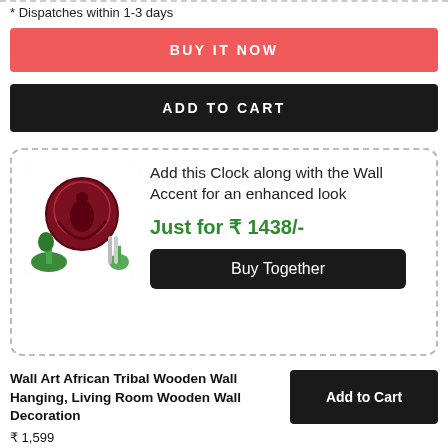* Dispatches within 1-3 days
BUY IT NOW
ADD TO CART
Add this Clock along with the Wall Accent for an enhanced look
Just for ₹ 1438/-
Buy Together
Wall Art African Tribal Wooden Wall Hanging, Living Room Wooden Wall Decoration
₹ 1,599
Add to Cart